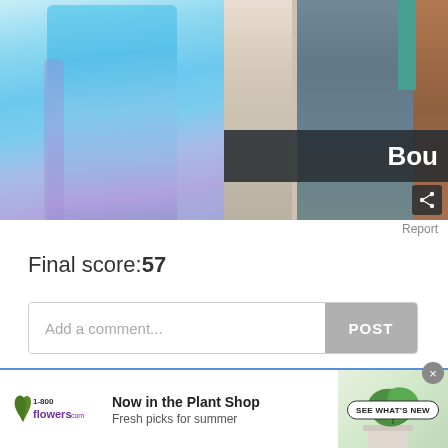[Figure (photo): Left side: blue/purple fuzzy onesie or robe hanging. Right side: boutique clothing rack with teal, gray, and brown garments. The right image has a dark semi-transparent overlay bar with text 'Bou' visible and a share icon.]
Report
Final score:57
Add a comment...
POST
[Figure (screenshot): 1-800-flowers.com advertisement banner: 'Now in the Plant Shop - Fresh picks for summer' with plant image and 'SEE WHAT'S NEW' button]